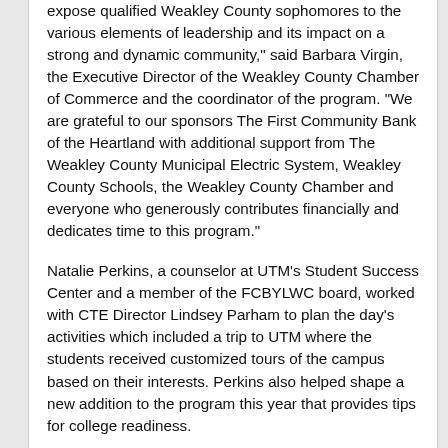expose qualified Weakley County sophomores to the various elements of leadership and its impact on a strong and dynamic community," said Barbara Virgin, the Executive Director of the Weakley County Chamber of Commerce and the coordinator of the program. "We are grateful to our sponsors The First Community Bank of the Heartland with additional support from The Weakley County Municipal Electric System, Weakley County Schools, the Weakley County Chamber and everyone who generously contributes financially and dedicates time to this program."
Natalie Perkins, a counselor at UTM's Student Success Center and a member of the FCBYLWC board, worked with CTE Director Lindsey Parham to plan the day's activities which included a trip to UTM where the students received customized tours of the campus based on their interests. Perkins also helped shape a new addition to the program this year that provides tips for college readiness.
She was a part of the program in 2007 and readily agreed to assist Virgin when called upon in her first year as a part of the board.